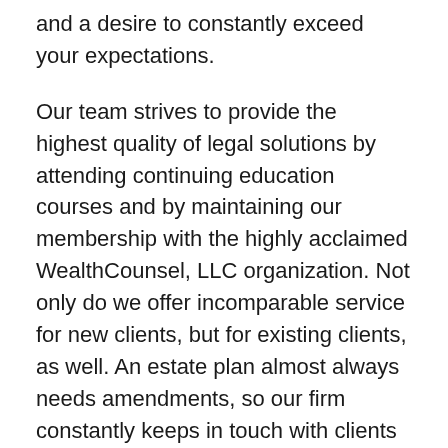and a desire to constantly exceed your expectations.
Our team strives to provide the highest quality of legal solutions by attending continuing education courses and by maintaining our membership with the highly acclaimed WealthCounsel, LLC organization. Not only do we offer incomparable service for new clients, but for existing clients, as well. An estate plan almost always needs amendments, so our firm constantly keeps in touch with clients to inform them of law changes, or to modify a plan if a client's personal circumstances have changed.
It is difficult to find a law firm that cares solely about their clients' well-being, and does not put the firm's interests first. Our client are our number one priority, and we are passionate about achieving our client's' end goals. We offer legal representation and assistance with estate